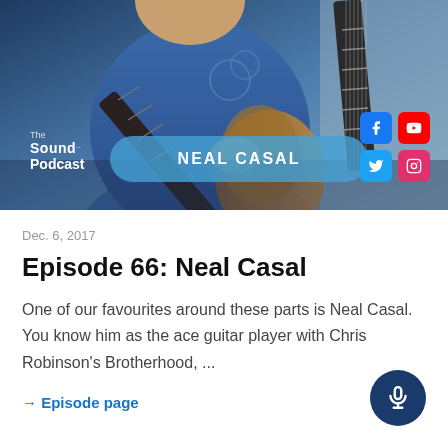[Figure (photo): Hero image of a man in a blue polo shirt playing a guitar with a guitar neck visible in the upper right. The Sound Podcast logo is in the lower left. A blue pill-shaped banner reads 'NEAL CASAL'. Social media icons (Facebook, YouTube, Twitter, Instagram) are in the lower right corner.]
Dec. 6, 2017
Episode 66: Neal Casal
One of our favourites around these parts is Neal Casal. You know him as the ace guitar player with Chris Robinson's Brotherhood, ...
→ Episode page